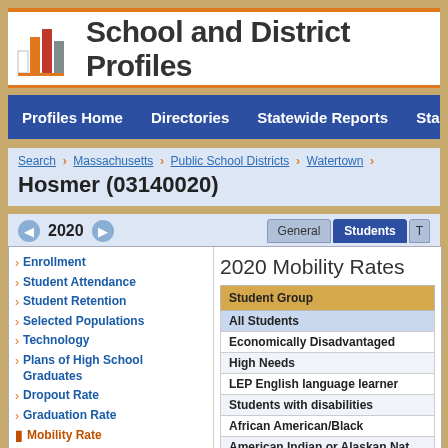School and District Profiles
Profiles Home   Directories   Statewide Reports   Sta
Search > Massachusetts > Public School Districts > Watertown >
Hosmer (03140020)
2020
General   Students   T
Enrollment
Student Attendance
Student Retention
Selected Populations
Technology
Plans of High School Graduates
Dropout Rate
Graduation Rate
Mobility Rate
MassCore Completion
Attrition Rates
Class Size by Gender and Selected Population
2020 Mobility Rates
| Student Group |
| --- |
| All Students |
| Economically Disadvantaged |
| High Needs |
| LEP English language learner |
| Students with disabilities |
| African American/Black |
| American Indian or Alaskan Nat |
| Asian |